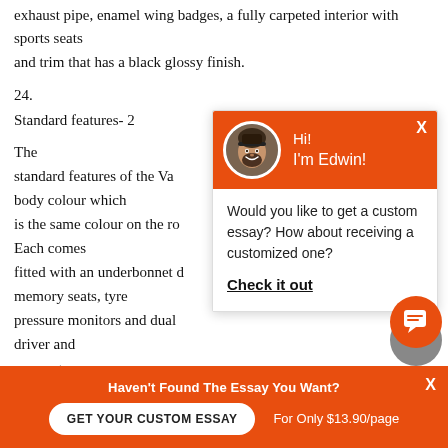exhaust pipe, enamel wing badges, a fully carpeted interior with sports seats
and trim that has a black glossy finish.
24.
Standard features- 2
The standard features of the Va... body colour which is the same colour on the ro... Each comes fitted with an underbonnet d... memory seats, tyre pressure monitors and dual... driver and passenger.
[Figure (other): Chat popup widget with avatar photo of a bearded man named Edwin, greeting message 'Hi! I'm Edwin!', and prompt 'Would you like to get a custom essay? How about receiving a customized one?' with a 'Check it out' link.]
Haven't Found The Essay You Want?
GET YOUR CUSTOM ESSAY
For Only $13.90/page